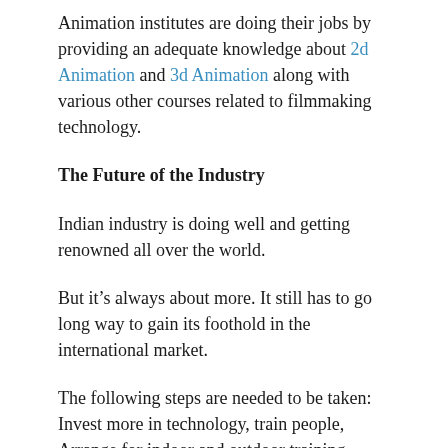Animation institutes are doing their jobs by providing an adequate knowledge about 2d Animation and 3d Animation along with various other courses related to filmmaking technology.
The Future of the Industry
Indian industry is doing well and getting renowned all over the world.
But it’s always about more. It still has to go long way to gain its foothold in the international market.
The following steps are needed to be taken: Invest more in technology, train people, Arrange for indoor and outdoor training methods, Set up more animation institutes with the beneficial courses that could teach about filmmaking, Arranging workshops and seminars and generating